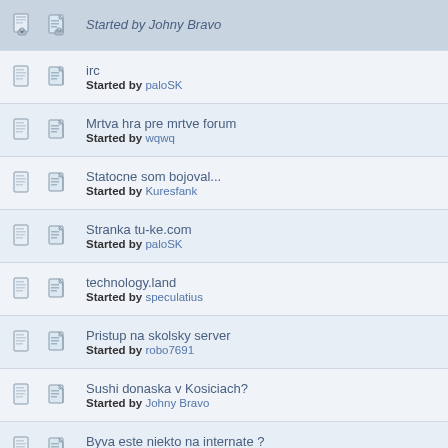Started by Johny Bravo
irc
Started by paloSK
Mrtva hra pre mrtve forum
Started by wqwq
Statocne som bojoval...
Started by Kuresfank
Stranka tu-ke.com
Started by paloSK
technology.land
Started by speculatius
Pristup na skolsky server
Started by robo7691
Sushi donaska v Kosiciach?
Started by Johny Bravo
Byva este niekto na internate ?
Started by paloSK
pretaktovanie.sk
Started by Johny Bravo
Autoskola v KE
Started by Palike
Telesná výchova - Tenis
Started by misho 17